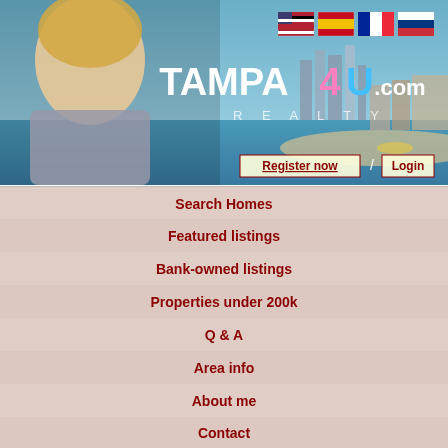[Figure (screenshot): Tampa4U.com Realty website header banner with Tampa Bay skyline background, blonde woman photo on left, logo in center, flag icons (US, Spain, France, Russia) top right, Register now / Login links bottom right]
Search Homes
Featured listings
Bank-owned listings
Properties under 200k
Q & A
Area info
About me
Contact
2510 S WILDER LOOP, PLANT CITY, FL, 33565
This property's status is "Pending" or "Removed". You can use our detailed search to look for similar properties.